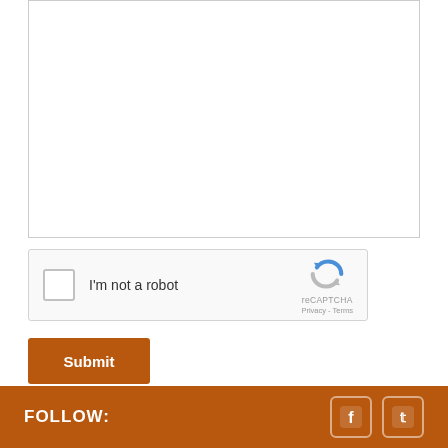[Figure (screenshot): Empty white textarea input box with light gray border, representing a comment or message input field on a web form.]
[Figure (screenshot): reCAPTCHA widget with checkbox labeled 'I'm not a robot', reCAPTCHA logo and branding showing 'reCAPTCHA Privacy - Terms'.]
Submit
FOLLOW: